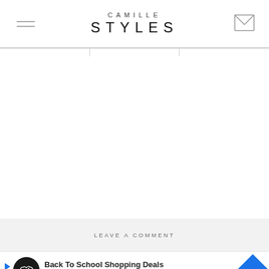CAMILLE STYLES
LEAVE A COMMENT
[Figure (screenshot): Advertisement banner: Back To School Shopping Deals - Leesburg Premium Outlets, with play button, circular logo, and blue diamond arrow]